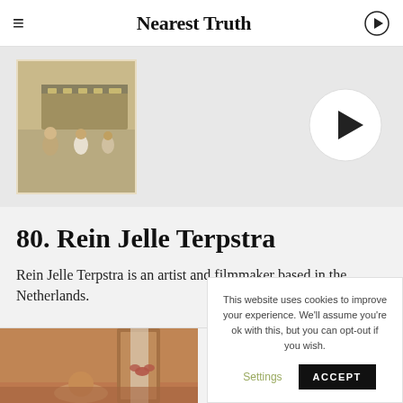Nearest Truth
[Figure (photo): Thumbnail image showing people standing near a train, vintage photograph style]
[Figure (other): Large circular play button with dark triangle on light grey background]
80. Rein Jelle Terpstra
Rein Jelle Terpstra is an artist and filmmaker based in the Netherlands.
[Figure (photo): Thumbnail image showing a person in a room, vintage warm-toned photograph]
This website uses cookies to improve your experience. We'll assume you're ok with this, but you can opt-out if you wish.